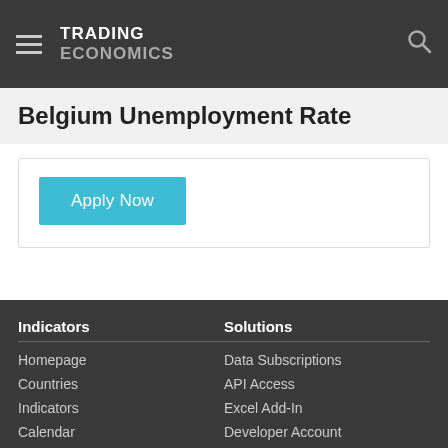TRADING ECONOMICS
Belgium Unemployment Rate
[Figure (other): Apply Now button (teal/cyan colored button)]
Indicators | Homepage | Countries | Indicators | Calendar | Solutions | Data Subscriptions | API Access | Excel Add-In | Developer Account